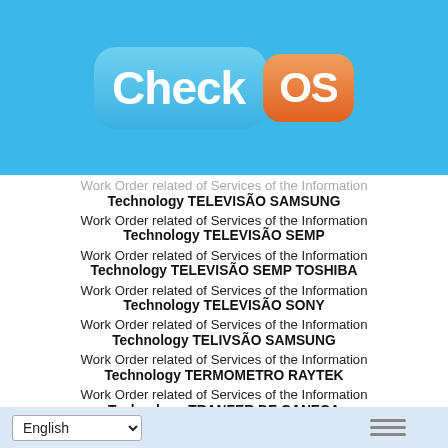[Figure (logo): CheckOS logo with blue pill-shaped background for 'Check' and orange rounded square for 'OS']
Work Order related of Services of the Information Technology TELEVISÃO SAMSUNG
Work Order related of Services of the Information Technology TELEVISÃO SEMP
Work Order related of Services of the Information Technology TELEVISÃO SEMP TOSHIBA
Work Order related of Services of the Information Technology TELEVISÃO SONY
Work Order related of Services of the Information Technology TELIVSÃO SAMSUNG
Work Order related of Services of the Information Technology TERMOMETRO RAYTEK
Work Order related of Services of the Information Technology TRANFER DE CANECA
Work Order related of Services of the Information Technology TV AOC
English [language selector] ≡